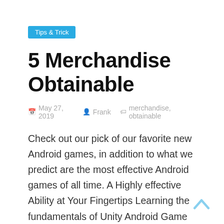Tips & Trick
5 Merchandise Obtainable
May 27, 2019   Frank   merchandise, obtainable
Check out our pick of our favorite new Android games, in addition to what we predict are the most effective Android games of all time. A Highly effective Ability at Your Fingertips Learning the fundamentals of Unity Android Game Improvement puts a robust and very useful gizmo at your fingertips. Unity is free, simple to be taught, has glorious documentation, and is the game engine used for constructing android games. Along with the brand new heroes, Dueling Fates